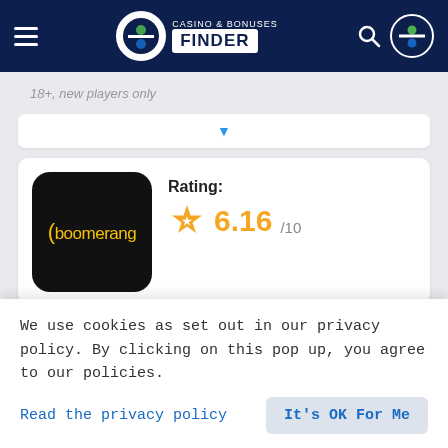CASINO & BONUSES FINDER
18+, new players only
[Figure (other): Boomerang casino logo - black rounded square with yellow boomerang symbol and text]
Rating: 6.16/10
Available for players from Sierra Leone
Weekend Bonus:
We use cookies as set out in our privacy policy. By clicking on this pop up, you agree to our policies.
Read the privacy policy
It's OK For Me